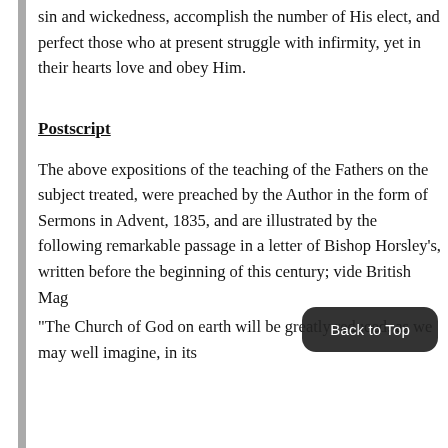sin and wickedness, accomplish the number of His elect, and perfect those who at present struggle with infirmity, yet in their hearts love and obey Him.
Postscript
The above expositions of the teaching of the Fathers on the subject treated, were preached by the Author in the form of Sermons in Advent, 1835, and are illustrated by the following remarkable passage in a letter of Bishop Horsley's, written before the beginning of this century; vide British Mag
"The Church of God on earth will be greatly reduced, as we may well imagine, in its